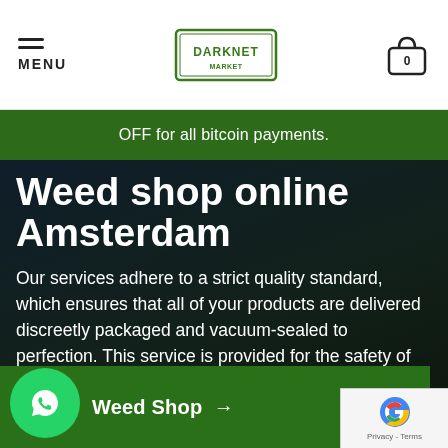MENU | DARKNET [logo] | 0 (cart)
OFF for all bitcoin payments.
Weed shop online Amsterdam
Our services adhere to a strict quality standard, which ensures that all of your products are delivered discreetly packaged and vacuum-sealed to perfection. This service is provided for the safety of our delivery of your products as well as yours.
Weed Shop →